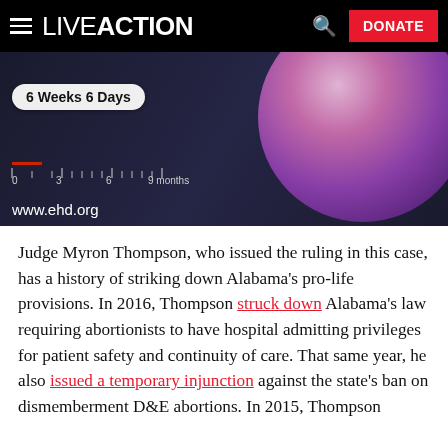LIVE ACTION — navigation bar with hamburger menu, logo, search, and DONATE button
[Figure (photo): Screenshot from www.ehd.org showing a fetal development image with a tooltip label '6 Weeks 6 Days' and a timeline ruler marked 0, 3, 6, 9 months at the bottom]
Judge Myron Thompson, who issued the ruling in this case, has a history of striking down Alabama's pro-life provisions. In 2016, Thompson struck down Alabama's law requiring abortionists to have hospital admitting privileges for patient safety and continuity of care. That same year, he also issued a temporary injunction against the state's ban on dismemberment D&E abortions. In 2015, Thompson